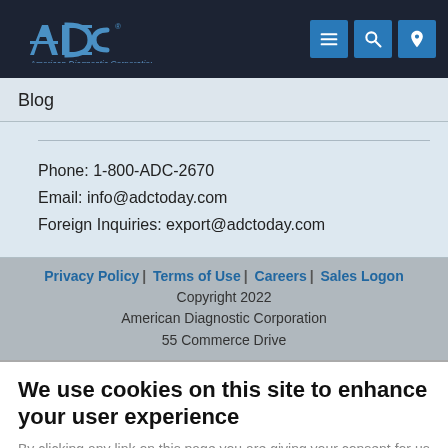[Figure (logo): ADC American Diagnostic Corporation logo with navigation icons (menu, search, location)]
Blog
Phone: 1-800-ADC-2670
Email: info@adctoday.com
Foreign Inquiries: export@adctoday.com
Privacy Policy | Terms of Use | Careers | Sales Logon
Copyright 2022
American Diagnostic Corporation
55 Commerce Drive
We use cookies on this site to enhance your user experience
By clicking any link on this page you are giving your consent for us to set cookies.
OK, I agree | No, give me more info